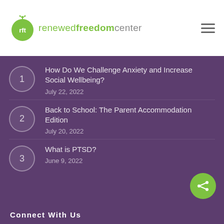rft renewedfreedomcenter
How Do We Challenge Anxiety and Increase Social Wellbeing?
July 22, 2022
Back to School: The Parent Accommodation Edition
July 20, 2022
What is PTSD?
June 9, 2022
Connect With Us